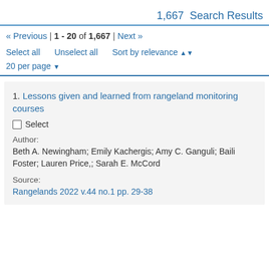1,667  Search Results
« Previous | 1 - 20 of 1,667 | Next »
Select all    Unselect all    Sort by relevance
20 per page
1. Lessons given and learned from rangeland monitoring courses
Select
Author:
Beth A. Newingham; Emily Kachergis; Amy C. Ganguli; Baili Foster; Lauren Price,; Sarah E. McCord
Source:
Rangelands 2022 v.44 no.1 pp. 29-38